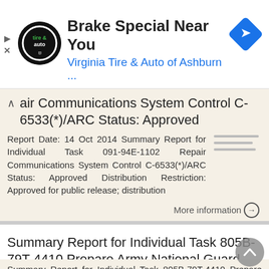[Figure (screenshot): Advertisement banner for Virginia Tire & Auto of Ashburn with logo and navigation arrow icon]
Repair Communications System Control C-6533(*)/ARC Status: Approved
Report Date: 14 Oct 2014 Summary Report for Individual Task 091-94E-1102 Repair Communications System Control C-6533(*)/ARC Status: Approved Distribution Restriction: Approved for public release; distribution
More information →
Summary Report for Individual Task 805B-79T-4410 Prepare Army National Guard Judge Advocate General Application Packet
Summary Report for Individual Task 805B-79T-4410 Prepare Army National Guard